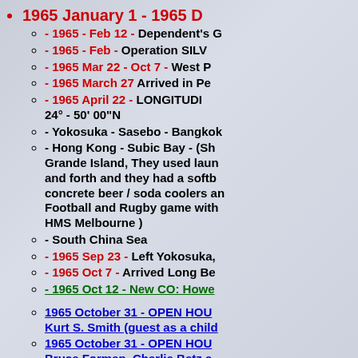1965 January 1 - 1965 D...
- 1965 - Feb 12 - Dependent's G...
- 1965 - Feb - Operation SILV...
- 1965 Mar 22 - Oct 7 - West P...
- 1965 March 27 Arrived in Pe...
- 1965 April 22 - LONGITUDI... 24° - 50' 00"N
- Yokosuka - Sasebo - Bangkok...
- Hong Kong - Subic Bay - (Sh... Grande Island, They used laun... and forth and they had a softb... concrete beer / soda coolers an... Football and Rugby game with... HMS Melbourne )
- South China Sea
- 1965 Sep 23 - Left Yokosuka,...
- 1965 Oct 7 - Arrived Long Be...
- 1965 Oct 12 - New CO: Howe...
1965 October 31 - OPEN HOU... Kurt S. Smith (guest as a child...
1965 October 31 - OPEN HOU... Bruce Forman, Charlie Betz a...
(1965-1969) Storekeeper To H...